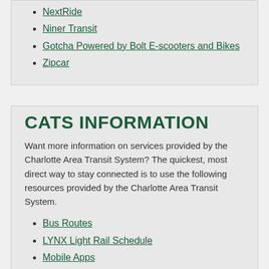NextRide
Niner Transit
Gotcha Powered by Bolt E-scooters and Bikes
Zipcar
CATS INFORMATION
Want more information on services provided by the Charlotte Area Transit System? The quickest, most direct way to stay connected is to use the following resources provided by the Charlotte Area Transit System.
Bus Routes
LYNX Light Rail Schedule
Mobile Apps